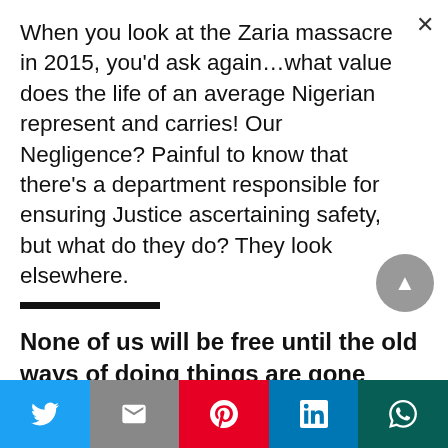When you look at the Zaria massacre in 2015, you'd ask again…what value does the life of an average Nigerian represent and carries! Our Negligence? Painful to know that there's a department responsible for ensuring Justice ascertaining safety, but what do they do? They look elsewhere.
None of us will be free until the old ways of doing things are gone forever.